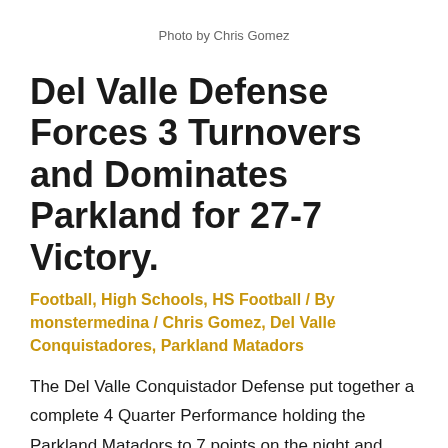Photo by Chris Gomez
Del Valle Defense Forces 3 Turnovers and Dominates Parkland for 27-7 Victory.
Football, High Schools, HS Football / By monstermedina / Chris Gomez, Del Valle Conquistadores, Parkland Matadors
The Del Valle Conquistador Defense put together a complete 4 Quarter Performance holding the Parkland Matadors to 7 points on the night and solidifying a road victory at Matador Stadium.